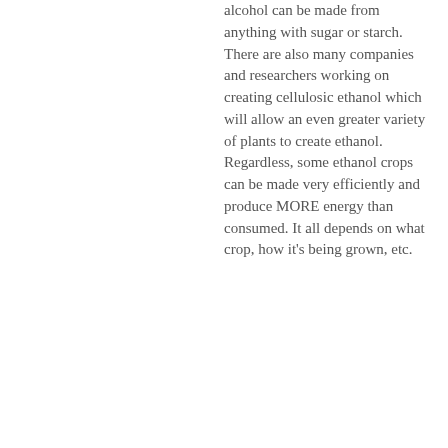alcohol can be made from anything with sugar or starch. There are also many companies and researchers working on creating cellulosic ethanol which will allow an even greater variety of plants to create ethanol. Regardless, some ethanol crops can be made very efficiently and produce MORE energy than consumed. It all depends on what crop, how it's being grown, etc.
The text below